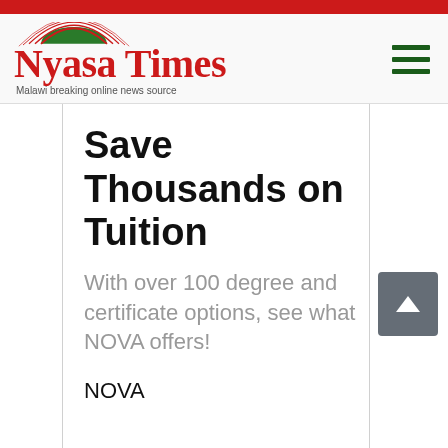[Figure (logo): Nyasa Times logo with red arc/dome graphic, red serif text 'Nyasa Times', tagline 'Malawi breaking online news source']
Save Thousands on Tuition
With over 100 degree and certificate options, see what NOVA offers!
NOVA